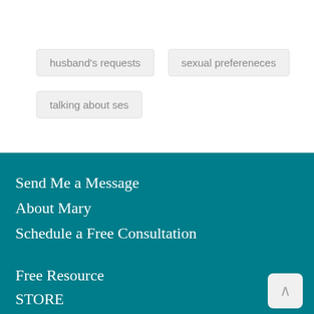husband's requests
sexual prefereneces
talking about ses
Send Me a Message
About Mary
Schedule a Free Consultation
Free Resource
STORE